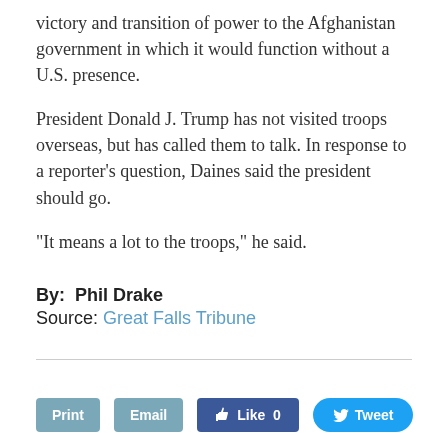victory and transition of power to the Afghanistan government in which it would function without a U.S. presence.
President Donald J. Trump has not visited troops overseas, but has called them to talk. In response to a reporter’s question, Daines said the president should go.
“It means a lot to the troops,” he said.
By:  Phil Drake
Source: Great Falls Tribune
[Figure (other): Social sharing buttons: Print, Email, Like 0 (Facebook), Tweet (Twitter)]